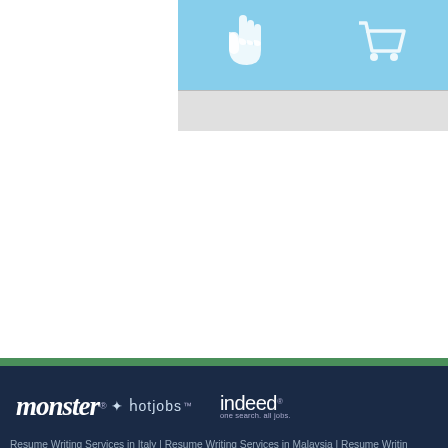[Figure (screenshot): Top portion of a website page showing a light blue section with hand/cursor icons and a shopping cart icon, with a light gray bar below.]
[Figure (logo): Monster HotJobs logo and Indeed logo displayed side by side on a dark navy background.]
Resume Writing Services in Italy | Resume Writing Services in Malaysia | Resume Writing Services in Canada | Resume Writing Services in Australia | Affiliate Program | Earn Recommending Us | Become a writer | About Us | Resume and C...